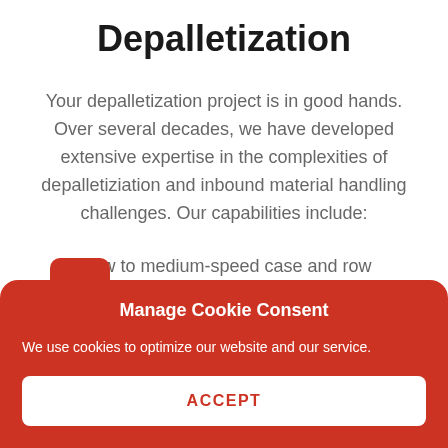Depalletization
Your depalletization project is in good hands. Over several decades, we have developed extensive expertise in the complexities of depalletiziation and inbound material handling challenges. Our capabilities include:
Slow to medium-speed case and row
Manage Cookie Consent
We use cookies to optimize our website and our service.
ACCEPT